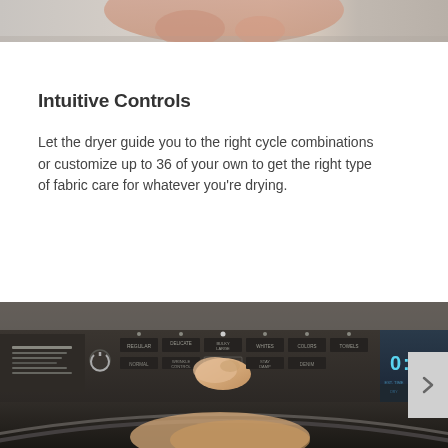[Figure (photo): Partial view of a person's hand or body, cropped at top of page, with blurred background]
Intuitive Controls
Let the dryer guide you to the right cycle combinations or customize up to 36 of your own to get the right type of fabric care for whatever you're drying.
[Figure (photo): Person's hand pressing a button on dryer control panel showing cycle options and digital clock display reading 0:54]